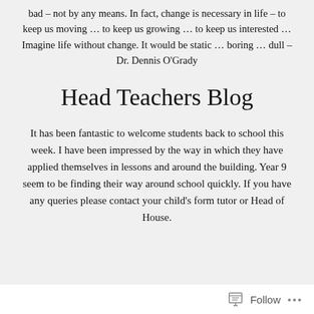bad – not by any means. In fact, change is necessary in life – to keep us moving … to keep us growing … to keep us interested … Imagine life without change. It would be static … boring … dull – Dr. Dennis O'Grady
Head Teachers Blog
It has been fantastic to welcome students back to school this week. I have been impressed by the way in which they have applied themselves in lessons and around the building. Year 9 seem to be finding their way around school quickly. If you have any queries please contact your child's form tutor or Head of House.
Follow ···